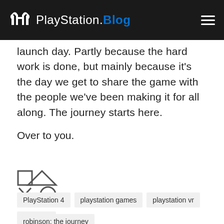PlayStation.Blog
launch day. Partly because the hard work is done, but mainly because it's the day we get to share the game with the people we've been making it for all along. The journey starts here.
Over to you.
[Figure (logo): PlayStation controller button symbols: square, triangle, cross, circle arranged in a 2x2 grid]
PlayStation 4
playstation games
playstation vr
robinson
robinson: the journey